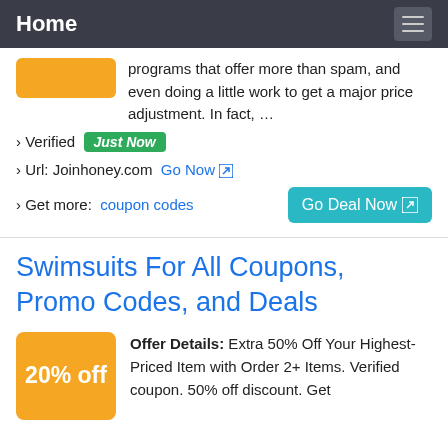Home
programs that offer more than spam, and even doing a little work to get a major price adjustment. In fact, …
› Verified  Just Now
› Url: Joinhoney.com  Go Now
› Get more:  coupon codes
Swimsuits For All Coupons, Promo Codes, and Deals
Offer Details: Extra 50% Off Your Highest-Priced Item with Order 2+ Items. Verified coupon. 50% off discount. Get